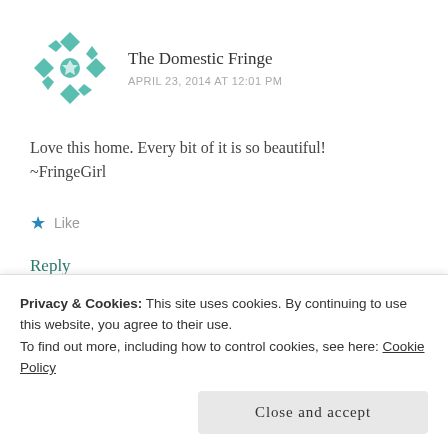[Figure (logo): Teal geometric floral/quilt pattern avatar logo for The Domestic Fringe]
The Domestic Fringe
APRIL 23, 2014 AT 12:01 PM
Love this home. Every bit of it is so beautiful!
~FringeGirl
Like
Reply
Privacy & Cookies: This site uses cookies. By continuing to use this website, you agree to their use.
To find out more, including how to control cookies, see here: Cookie Policy
Close and accept